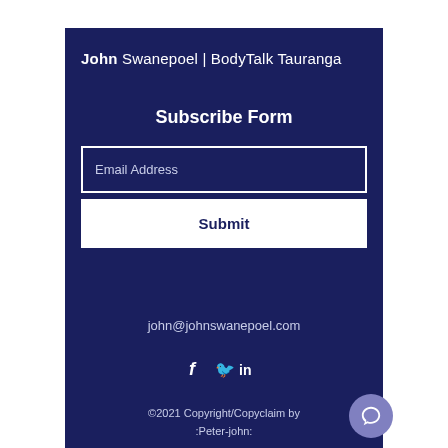John Swanepoel | BodyTalk Tauranga
Subscribe Form
Email Address
Submit
john@johnswanepoel.com
[Figure (infographic): Social media icons: Facebook (f), Twitter (bird), LinkedIn (in)]
©2021 Copyright/Copyclaim by :Peter-john: